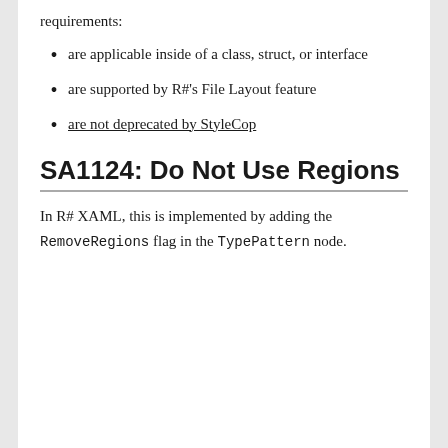requirements:
are applicable inside of a class, struct, or interface
are supported by R#'s File Layout feature
are not deprecated by StyleCop
SA1124: Do Not Use Regions
In R# XAML, this is implemented by adding the RemoveRegions flag in the TypePattern node.